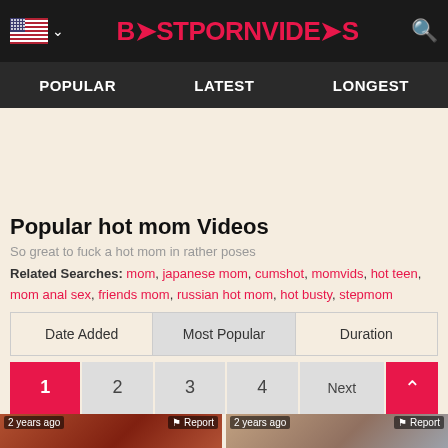BESTPORNVIDEOS
POPULAR | LATEST | LONGEST
Popular hot mom Videos
So great to fuck a hot mom in rather poses
Related Searches: mom, japanese mom, cumshot, momvids, hot teen, mom anal sex, friends mom, russian hot mom, hot busty, stepmom
| Date Added | Most Popular | Duration |
| --- | --- | --- |
1  2  3  4  Next
[Figure (screenshot): Two video thumbnails showing '2 years ago' timestamp and Report button]